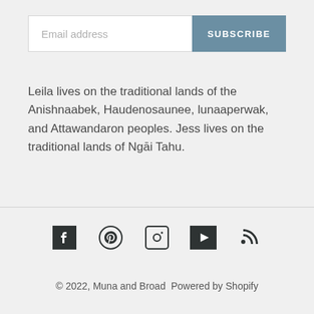[Figure (other): Email address input field with SUBSCRIBE button in steel blue]
Leila lives on the traditional lands of the Anishnaabek, Haudenosaunee, lunaaperwak, and Attawandaron peoples. Jess lives on the traditional lands of Ngāi Tahu.
[Figure (other): Row of 5 social media icons: Facebook, Pinterest, Instagram, YouTube, RSS]
© 2022, Muna and Broad Powered by Shopify